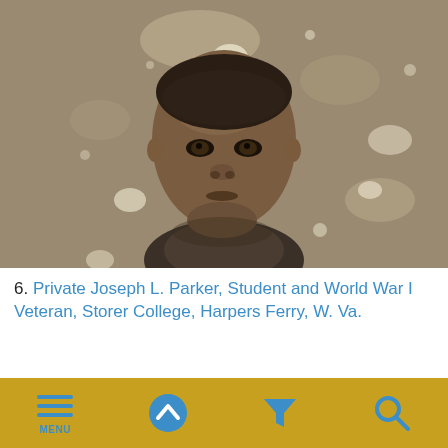[Figure (photo): Sepia/black and white portrait photograph of Private Joseph L. Parker, a young African American man in military uniform, with a deteriorated/spotted background. Historical photograph from Storer College, Harpers Ferry, W. Va.]
6. Private Joseph L. Parker, Student and World War I Veteran, Storer College, Harpers Ferry, W. Va.
IDNO:
025248